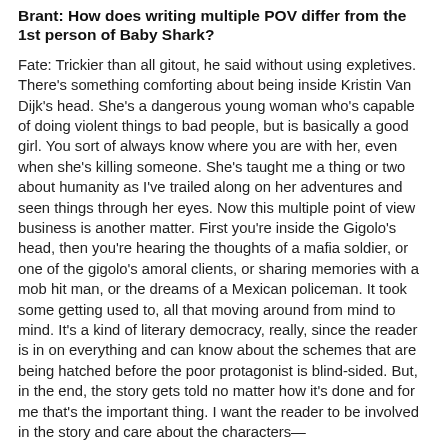Brant: How does writing multiple POV differ from the 1st person of Baby Shark?
Fate: Trickier than all gitout, he said without using expletives. There's something comforting about being inside Kristin Van Dijk's head. She's a dangerous young woman who's capable of doing violent things to bad people, but is basically a good girl. You sort of always know where you are with her, even when she's killing someone. She's taught me a thing or two about humanity as I've trailed along on her adventures and seen things through her eyes. Now this multiple point of view business is another matter. First you're inside the Gigolo's head, then you're hearing the thoughts of a mafia soldier, or one of the gigolo's amoral clients, or sharing memories with a mob hit man, or the dreams of a Mexican policeman. It took some getting used to, all that moving around from mind to mind. It's a kind of literary democracy, really, since the reader is in on everything and can know about the schemes that are being hatched before the poor protagonist is blind-sided. But, in the end, the story gets told no matter how it's done and for me that's the important thing. I want the reader to be involved in the story and care about the characters—